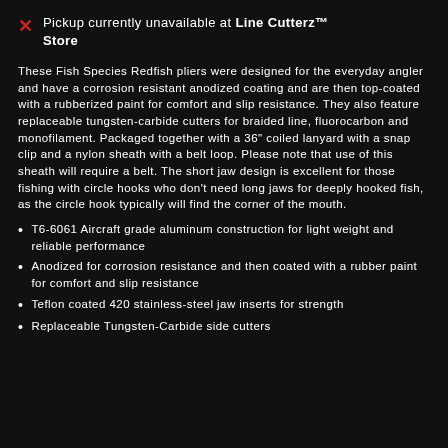Pickup currently unavailable at Line Cutterz™ Store
These Fish Species Redfish pliers were designed for the everyday angler and have a corrosion resistant anodized coating and are then top-coated with a rubberized paint for comfort and slip resistance. They also feature replaceable tungsten-carbide cutters for braided line, fluorocarbon and monofilament. Packaged together with a 36" coiled lanyard with a snap clip and a nylon sheath with a belt loop. Please note that use of this sheath will require a belt. The short jaw design is excellent for those fishing with circle hooks who don't need long jaws for deeply hooked fish, as the circle hook typically will find the corner of the mouth.
T6-6061 Aircraft grade aluminum construction for light weight and reliable performance
Anodized for corrosion resistance and then coated with a rubber paint for comfort and slip resistance
Teflon coated 420 stainless-steel jaw inserts for strength
Replaceable Tungsten-Carbide side cutters